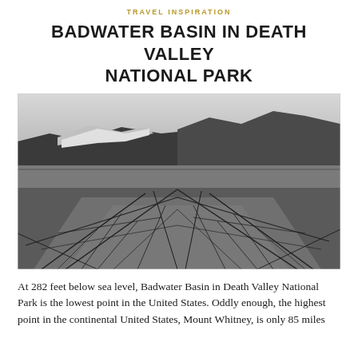TRAVEL INSPIRATION
BADWATER BASIN IN DEATH VALLEY NATIONAL PARK
[Figure (photo): Black and white photograph of Badwater Basin in Death Valley National Park, showing cracked dry salt flat in the foreground with mountains in the background under an overcast sky.]
At 282 feet below sea level, Badwater Basin in Death Valley National Park is the lowest point in the United States. Oddly enough, the highest point in the continental United States, Mount Whitney, is only 85 miles